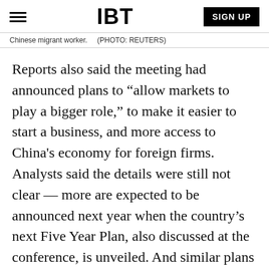IBT | SIGN UP
Chinese migrant worker.    (PHOTO: REUTERS)
Reports also said the meeting had announced plans to “allow markets to play a bigger role,” to make it easier to start a business, and more access to China's economy for foreign firms. Analysts said the details were still not clear — more are expected to be announced next year when the country’s next Five Year Plan, also discussed at the conference, is unveiled. And similar plans have been criticized for lack of substance before, particularly long-discussed reforms of the still powerful state sector,